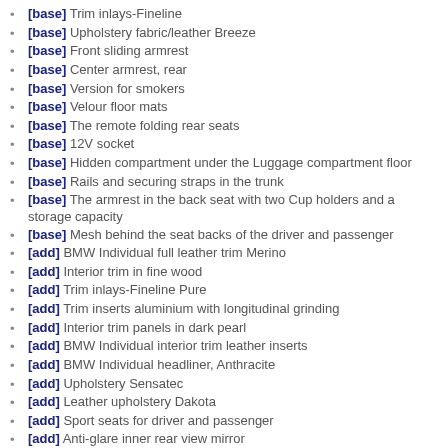[base] Trim inlays-Fineline
[base] Upholstery fabric/leather Breeze
[base] Front sliding armrest
[base] Center armrest, rear
[base] Version for smokers
[base] Velour floor mats
[base] The remote folding rear seats
[base] 12V socket
[base] Hidden compartment under the Luggage compartment floor
[base] Rails and securing straps in the trunk
[base] The armrest in the back seat with two Cup holders and a storage capacity
[base] Mesh behind the seat backs of the driver and passenger
[add] BMW Individual full leather trim Merino
[add] Interior trim in fine wood
[add] Trim inlays-Fineline Pure
[add] Trim inserts aluminium with longitudinal grinding
[add] Interior trim panels in dark pearl
[add] BMW Individual interior trim leather inserts
[add] BMW Individual headliner, Anthracite
[add] Upholstery Sensatec
[add] Leather upholstery Dakota
[add] Sport seats for driver and passenger
[add] Anti-glare inner rear view mirror
[add] Additional 12V outlet